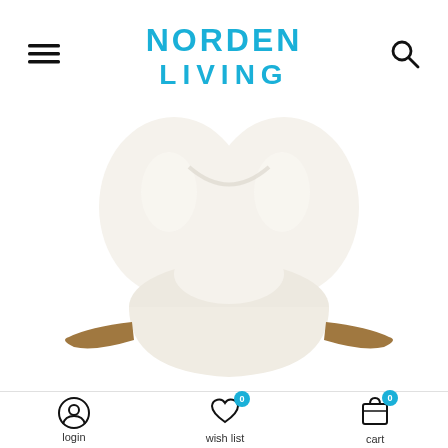NORDEN LIVING — navigation header with hamburger menu and search icon
[Figure (photo): Close-up front view of a white/cream upholstered wingback-style lounge chair with wooden armrests, shown against a white background. The chair has a distinctive butterfly-like silhouette with two rounded top sections.]
login   wish list 0   cart 0